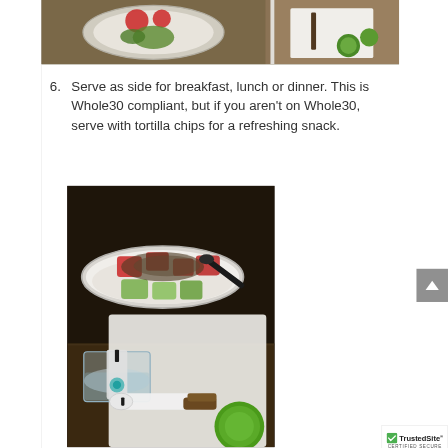[Figure (photo): Top portion of a food photo showing a white bowl with colorful salsa or guacamole ingredients on a granite countertop, partially cropped at top]
6. Serve as side for breakfast, lunch or dinner. This is Whole30 compliant, but if you aren't on Whole30, serve with tortilla chips for a refreshing snack.
[Figure (photo): A white bowl filled with chopped tomatoes, avocado chunks, and herbs/spices with a black spoon, placed on a cutting board with a glass of water containing a measuring device and a lime in the foreground, on a dark granite countertop]